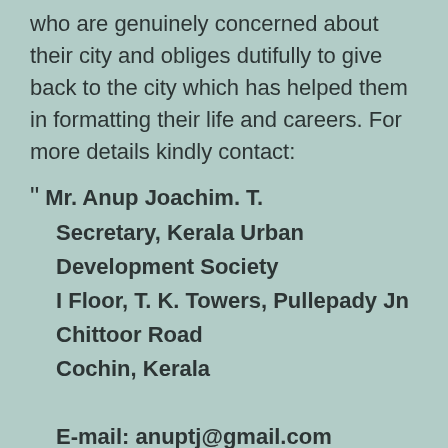who are genuinely concerned about their city and obliges dutifully to give back to the city which has helped them in formatting their life and careers. For more details kindly contact:
" Mr. Anup Joachim. T.
Secretary, Kerala Urban Development Society
I Floor, T. K. Towers, Pullepady Jn
Chittoor Road
Cochin, Kerala

E-mail: anuptj@gmail.com

Mobile: (0091) 95440 44440